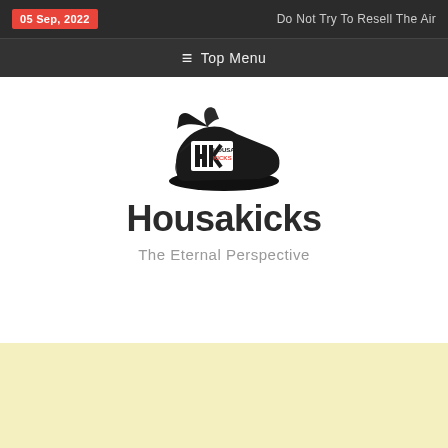05 Sep, 2022   Do Not Try To Resell The Air
☰ Top Menu
[Figure (logo): Housakicks sneaker logo — black sneaker silhouette with HK initials and HOUSAKICKS text inside]
Housakicks
The Eternal Perspective
[Figure (other): Light yellow advertisement banner area]